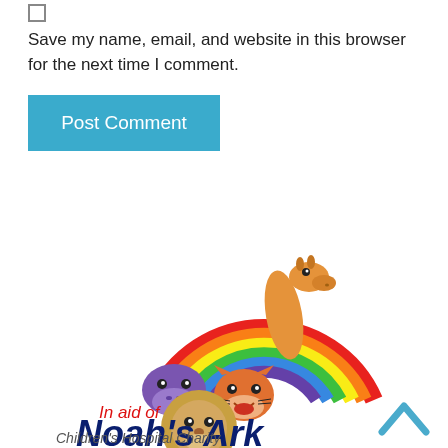Save my name, email, and website in this browser for the next time I comment.
Post Comment
[Figure (logo): Noah's Ark Children's Hospital Charity logo with rainbow and cartoon animals (giraffe, hippo, tiger, lion) and text 'In aid of Noah's Ark Children's Hospital Charity' in red and dark blue handwritten-style font]